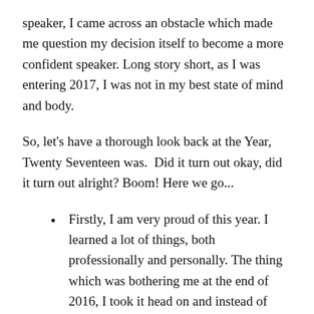speaker, I came across an obstacle which made me question my decision itself to become a more confident speaker. Long story short, as I was entering 2017, I was not in my best state of mind and body.
So, let's have a thorough look back at the Year, Twenty Seventeen was.  Did it turn out okay, did it turn out alright? Boom! Here we go...
Firstly, I am very proud of this year. I learned a lot of things, both professionally and personally. The thing which was bothering me at the end of 2016, I took it head on and instead of running away from it (Public Speaking), I decided to confront it. I got my Competent Communication module of 10 Speeches done by May 10th. And that was the time (January-June) when I was peak busy at Work. This taught me a lesson that when one is super busy